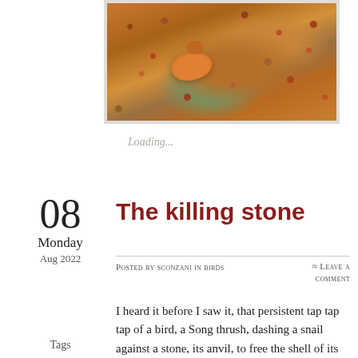[Figure (photo): A bird (Song thrush) on autumn leaf-covered ground, viewed from above. The bird has an orange-brown breast and is surrounded by fallen brown leaves.]
Loading...
The killing stone
08
Monday
Aug 2022
Posted by sconzani in birds
≈ Leave a comment
I heard it before I saw it, that persistent tap tap tap of a bird, a Song thrush, dashing a snail against a stone, its anvil, to free the shell of its juicy contents. I've read that thrushes often use
Tags